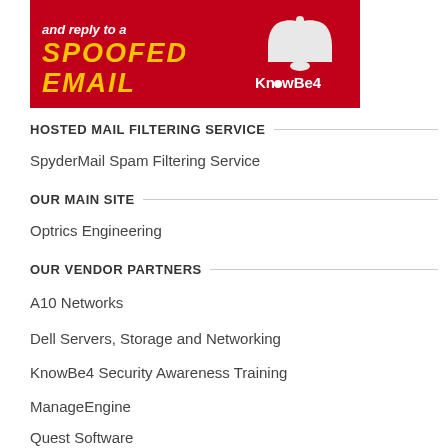[Figure (illustration): KnowBe4 advertisement banner on red background. Text reads 'and reply to a SPOOFED EMAIL' with KnowBe4 logo and a bell icon.]
HOSTED MAIL FILTERING SERVICE
SpyderMail Spam Filtering Service
OUR MAIN SITE
Optrics Engineering
OUR VENDOR PARTNERS
A10 Networks
Dell Servers, Storage and Networking
KnowBe4 Security Awareness Training
ManageEngine
Quest Software